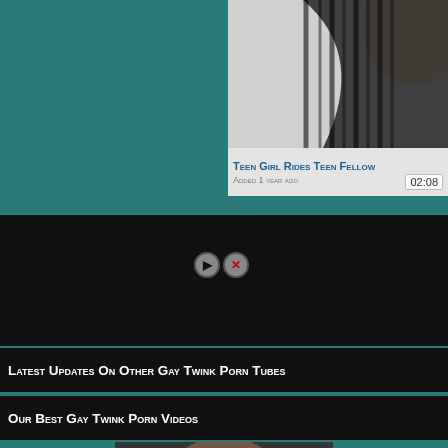[Figure (screenshot): Video thumbnail showing a person, partially visible, with striped clothing. Part of a video listing card on a teal background.]
Teen Girl Rides Teen Fellow
Added 1 year ago
02:08
[Figure (screenshot): Black video player area with close/stop ad buttons visible.]
Latest Updates On Other Gay Twink Porn Tubes
Our Best Gay Twink Porn Videos
[Figure (photo): Partial thumbnail of a video at the bottom of the page on teal background.]